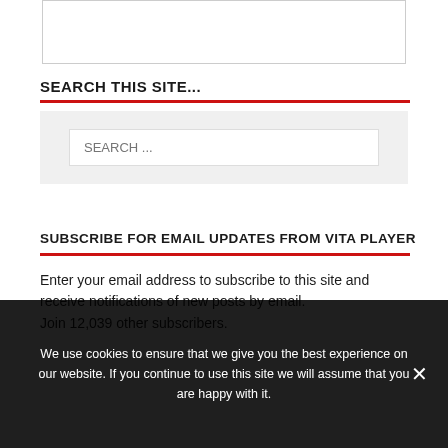[Figure (other): Partial white content box at top of page, partially visible]
SEARCH THIS SITE...
[Figure (other): Search input box with placeholder text 'SEARCH ...' inside a light gray container]
SUBSCRIBE FOR EMAIL UPDATES FROM VITA PLAYER
Enter your email address to subscribe to this site and receive notifications of new posts by email.
Join 12,039 other subscribers.
We use cookies to ensure that we give you the best experience on our website. If you continue to use this site we will assume that you are happy with it.